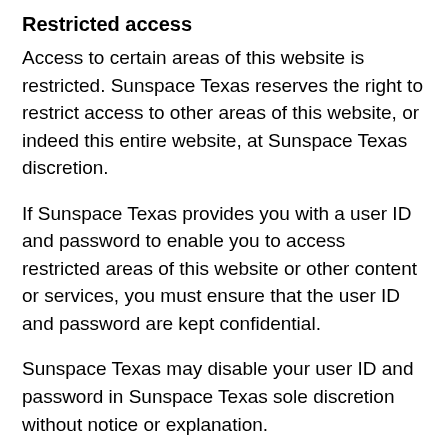Restricted access
Access to certain areas of this website is restricted. Sunspace Texas reserves the right to restrict access to other areas of this website, or indeed this entire website, at Sunspace Texas discretion.
If Sunspace Texas provides you with a user ID and password to enable you to access restricted areas of this website or other content or services, you must ensure that the user ID and password are kept confidential.
Sunspace Texas may disable your user ID and password in Sunspace Texas sole discretion without notice or explanation.
User content
In these terms and conditions, “your user content” means material (including without limitation text, images, audio material, video material and audio-